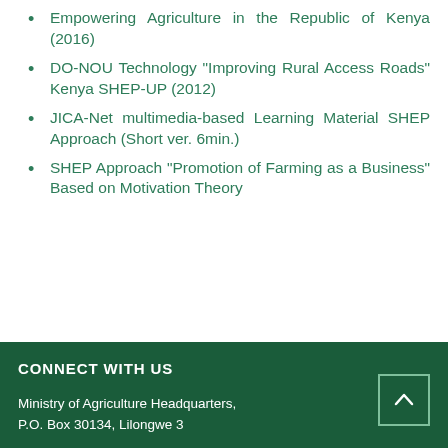Empowering Agriculture in the Republic of Kenya (2016)
DO-NOU Technology "Improving Rural Access Roads" Kenya SHEP-UP (2012)
JICA-Net multimedia-based Learning Material SHEP Approach (Short ver. 6min.)
SHEP Approach "Promotion of Farming as a Business" Based on Motivation Theory
CONNECT WITH US
Ministry of Agriculture Headquarters,
P.O. Box 30134, Lilongwe 3